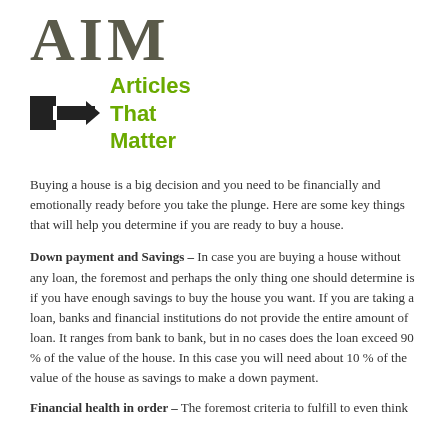[Figure (logo): AIM logo with pointing hand icon and 'Articles That Matter' text in green]
Buying a house is a big decision and you need to be financially and emotionally ready before you take the plunge. Here are some key things that will help you determine if you are ready to buy a house.
Down payment and Savings – In case you are buying a house without any loan, the foremost and perhaps the only thing one should determine is if you have enough savings to buy the house you want. If you are taking a loan, banks and financial institutions do not provide the entire amount of loan. It ranges from bank to bank, but in no cases does the loan exceed 90 % of the value of the house. In this case you will need about 10 % of the value of the house as savings to make a down payment.
Financial health in order – The foremost criteria to fulfill to even think